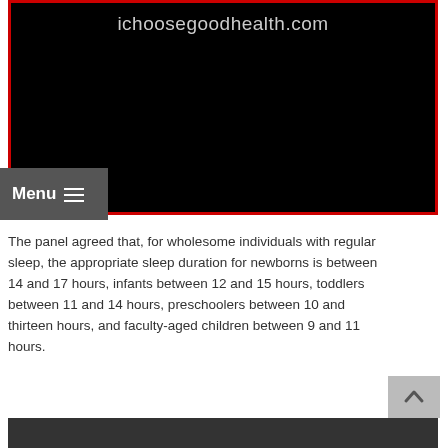[Figure (screenshot): Website header banner for ichoosegoodhealth.com with black background and red border, showing the site URL in grey text]
The panel agreed that, for wholesome individuals with regular sleep, the appropriate sleep duration for newborns is between 14 and 17 hours, infants between 12 and 15 hours, toddlers between 11 and 14 hours, preschoolers between 10 and thirteen hours, and faculty-aged children between 9 and 11 hours.
[Figure (screenshot): Bottom dark banner/image partially visible at the bottom of the page]